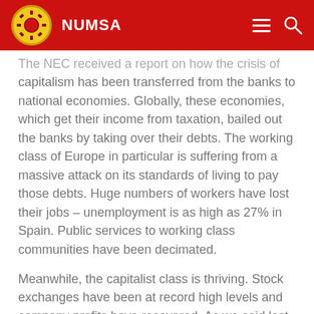NUMSA
The NEC received a report on how the crisis of capitalism has been transferred from the banks to national economies. Globally, these economies, which get their income from taxation, bailed out the banks by taking over their debts. The working class of Europe in particular is suffering from a massive attack on its standards of living to pay those debts. Huge numbers of workers have lost their jobs – unemployment is as high as 27% in Spain. Public services to working class communities have been decimated.
Meanwhile, the capitalist class is thriving. Stock exchanges have been at record high levels and company profits have recovered. As we said last year, we must either overthrow capitalism or perish